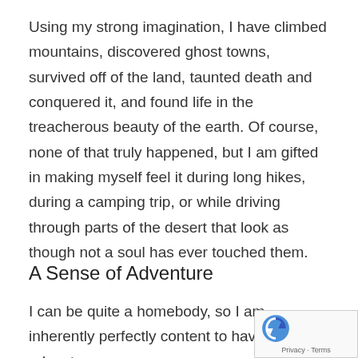Using my strong imagination, I have climbed mountains, discovered ghost towns, survived off of the land, taunted death and conquered it, and found life in the treacherous beauty of the earth. Of course, none of that truly happened, but I am gifted in making myself feel it during long hikes, during a camping trip, or while driving through parts of the desert that look as though not a soul has ever touched them.
A Sense of Adventure
I can be quite a homebody, so I am inherently perfectly content to have small adventures and